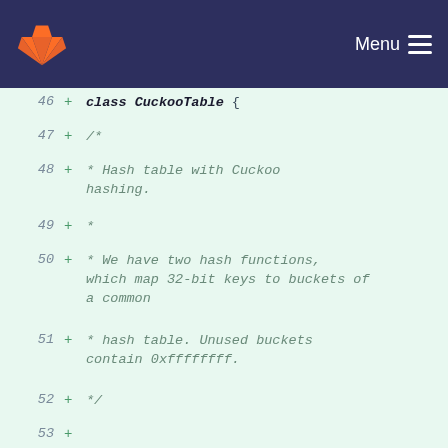GitLab navigation bar with logo and Menu
[Figure (screenshot): Code diff view showing C++ class CuckooTable definition with lines 46-60, highlighted additions on green background with line numbers and plus signs]
46 + class CuckooTable {
47 + /*
48 + * Hash table with Cuckoo hashing.
49 + *
50 + * We have two hash functions, which map 32-bit keys to buckets of a common
51 + * hash table. Unused buckets contain 0xffffffff.
52 + */
53 +
54 + const uint32_t UNUSED = 0xffffffff;
55 +
56 + // The array of buckets
57 + vector<uint32_t> table;
58 + unsigned num_buckets;
59 +
60 + // Hash functions and the